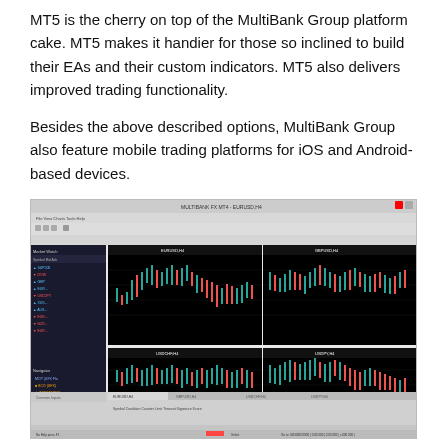MT5 is the cherry on top of the MultiBank Group platform cake. MT5 makes it handier for those so inclined to build their EAs and their custom indicators. MT5 also delivers improved trading functionality.
Besides the above described options, MultiBank Group also feature mobile trading platforms for iOS and Android-based devices.
[Figure (screenshot): Screenshot of the MT5 (MetaTrader 5) trading platform interface showing four currency pair charts (EURUSD H4, GBPUSD H4, USDCHF H4, USDPY H4) with candlestick data and a market watch panel on the left.]
Conclusion